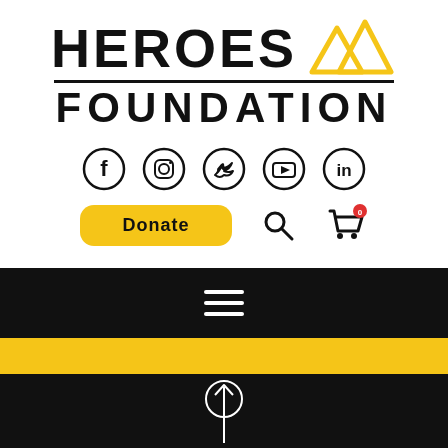[Figure (logo): Heroes Foundation logo: bold HEROES text with mountain/triangle icon in yellow, horizontal divider line, FOUNDATION text below]
[Figure (infographic): Row of five social media icons in black circles: Facebook, Instagram, Twitter, YouTube, LinkedIn]
[Figure (infographic): Action row with yellow Donate button, search icon, and shopping cart icon with red badge showing 0]
[Figure (infographic): Black navigation bar with three horizontal white hamburger menu lines]
[Figure (infographic): Yellow horizontal stripe]
[Figure (infographic): Black bottom section with white circle and upward arrow icon (scroll to top)]